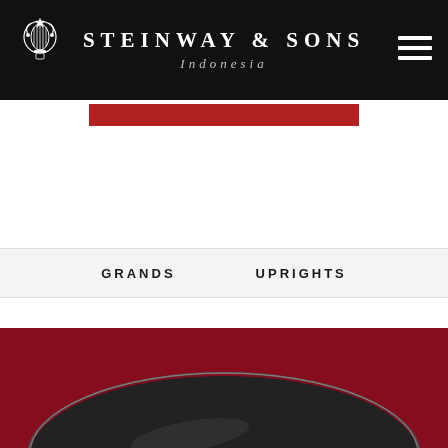STEINWAY & SONS Indonesia
[Figure (screenshot): Steinway & Sons Indonesia website navigation screenshot showing header, navigation tabs (GRANDS, UPRIGHTS), and a dark red background with the top of a grand piano visible at the bottom]
GRANDS
UPRIGHTS